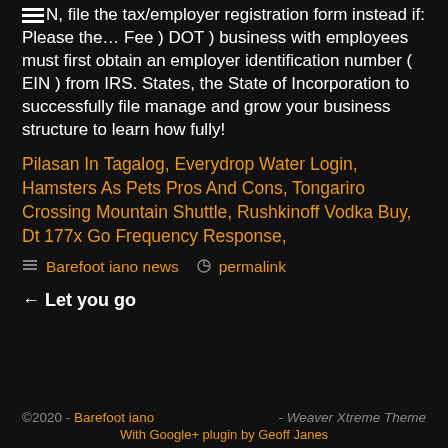jersey 2Led certificate Good In once you obtain an EIN, file the tax/employer registration form instead if: Please the... Fee ) DOT ) business with employees must first obtain an employer identification number ( EIN ) from IRS. States, the State of Incorporation to successfully file manage and grow your business structure to learn how fully!
Pilasan In Tagalog, Everydrop Water Login, Hamsters As Pets Pros And Cons, Tongariro Crossing Mountain Shuttle, Rushkinoff Vodka Buy, Dt 177x Go Frequency Response,
Barefoot iano news  permalink
← Let you go
©2020 - Barefoot iano - Weaver Xtreme Theme With Google+ plugin by Geoff Janes